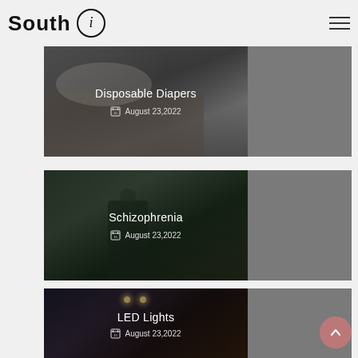South i
[Figure (screenshot): Article card with dark image showing a baby and newspaper, titled Disposable Diapers, dated August 23,2022]
[Figure (screenshot): Article card with dark outdoor image showing a person, titled Schizophrenia, dated August 23,2022]
[Figure (screenshot): Article card with dark image showing LED lights, titled LED Lights, dated August 23,2022]